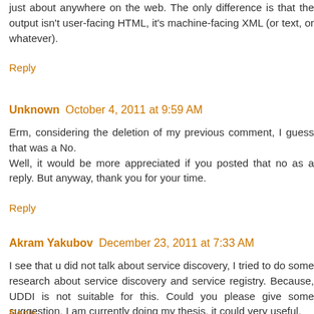just about anywhere on the web. The only difference is that the output isn't user-facing HTML, it's machine-facing XML (or text, or whatever).
Reply
Unknown October 4, 2011 at 9:59 AM
Erm, considering the deletion of my previous comment, I guess that was a No.
Well, it would be more appreciated if you posted that no as a reply. But anyway, thank you for your time.
Reply
Akram Yakubov December 23, 2011 at 7:33 AM
I see that u did not talk about service discovery, I tried to do some research about service discovery and service registry. Because, UDDI is not suitable for this. Could you please give some suggestion, I am currently doing my thesis, it could very useful.
Reply